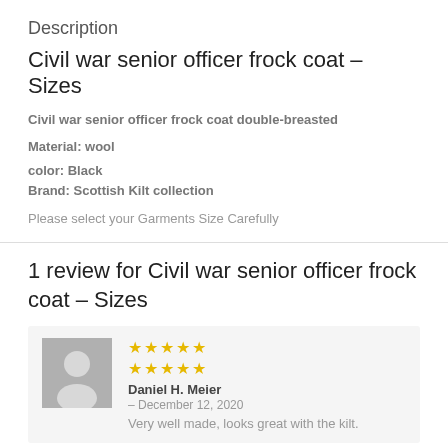Description
Civil war senior officer frock coat – Sizes
Civil war senior officer frock coat double-breasted
Material: wool
color: Black
Brand: Scottish Kilt collection
Please select your Garments Size Carefully
1 review for Civil war senior officer frock coat – Sizes
[Figure (other): User avatar silhouette icon on grey background]
★★★★★ ★★★★★
Daniel H. Meier
– December 12, 2020
Very well made, looks great with the kilt.